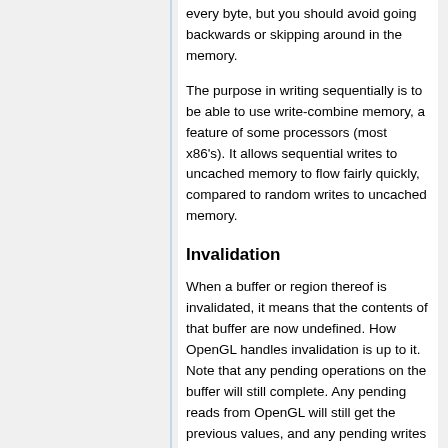every byte, but you should avoid going backwards or skipping around in the memory.
The purpose in writing sequentially is to be able to use write-combine memory, a feature of some processors (most x86's). It allows sequential writes to uncached memory to flow fairly quickly, compared to random writes to uncached memory.
Invalidation
When a buffer or region thereof is invalidated, it means that the contents of that buffer are now undefined. How OpenGL handles invalidation is up to it. Note that any pending operations on the buffer will still complete. Any pending reads from OpenGL will still get the previous values, and any pending writes will still write their values (though the